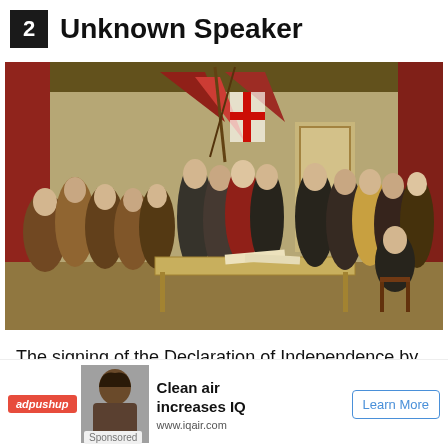2 Unknown Speaker
[Figure (illustration): Painting of the signing of the Declaration of Independence, showing founding fathers gathered in a hall with flags on the wall, figures presenting a document at a central table.]
The signing of the Declaration of Independence by any man would result in gruesome torture and death by the British
Colonial... very argument put forward by America's founding... it was tha...
[Figure (infographic): Advertisement overlay: adpushup ad with image of woman, text 'Clean air increases IQ', URL 'www.iqair.com', 'Learn More' button, 'Sponsored' label.]